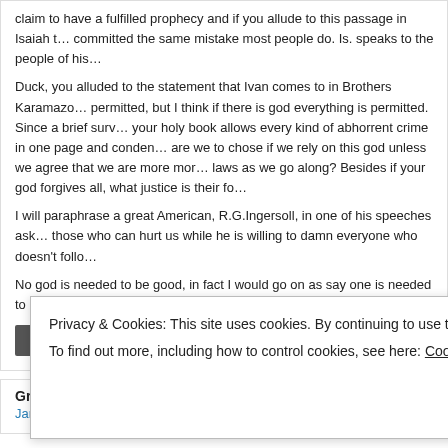claim to have a fulfilled prophecy and if you allude to this passage in Isaiah t... committed the same mistake most people do. Is. speaks to the people of his...
Duck, you alluded to the statement that Ivan comes to in Brothers Karamazo... permitted, but I think if there is god everything is permitted. Since a brief surv... your holy book allows every kind of abhorrent crime in one page and conden... are we to chose if we rely on this god unless we agree that we are more mor... laws as we go along? Besides if your god forgives all, what justice is their fo...
I will paraphrase a great American, R.G.Ingersoll, in one of his speeches ask... those who can hurt us while he is willing to damn everyone who doesn't follo...
No god is needed to be good, in fact I would go on as say one is needed to b...
Reply
Grady says:
January 10, 2013 at 1:59 pm
Privacy & Cookies: This site uses cookies. By continuing to use this website, you agree to their use.
To find out more, including how to control cookies, see here: Cookie Policy
Close and accept